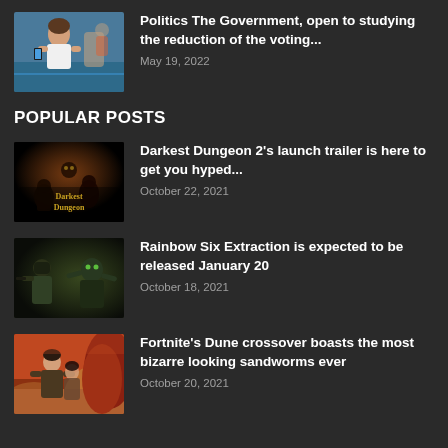[Figure (photo): Young woman in a white tank top looking at her phone in a gym setting]
Politics The Government, open to studying the reduction of the voting...
May 19, 2022
POPULAR POSTS
[Figure (photo): Darkest Dungeon 2 game promotional image with golden logo text on dark background]
Darkest Dungeon 2's launch trailer is here to get you hyped...
October 22, 2021
[Figure (photo): Rainbow Six Extraction game promotional image with soldiers in dark tactical gear]
Rainbow Six Extraction is expected to be released January 20
October 18, 2021
[Figure (photo): Fortnite Dune crossover promotional image with character and red desert landscape]
Fortnite's Dune crossover boasts the most bizarre looking sandworms ever
October 20, 2021